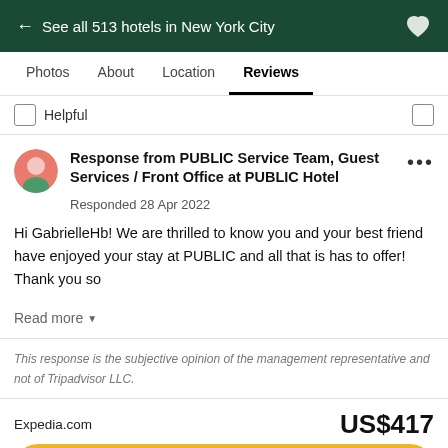← See all 513 hotels in New York City
Photos  About  Location  Reviews
Helpful
Response from PUBLIC Service Team, Guest Services / Front Office at PUBLIC Hotel
Responded 28 Apr 2022
Hi GabrielleHb! We are thrilled to know you and your best friend have enjoyed your stay at PUBLIC and all that is has to offer! Thank you so
Read more
This response is the subjective opinion of the management representative and not of Tripadvisor LLC.
Expedia.com    US$417
View deal
Visit hotel website ↗